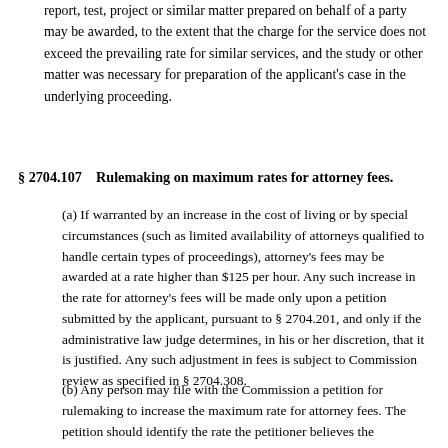report, test, project or similar matter prepared on behalf of a party may be awarded, to the extent that the charge for the service does not exceed the prevailing rate for similar services, and the study or other matter was necessary for preparation of the applicant's case in the underlying proceeding.
§ 2704.107   Rulemaking on maximum rates for attorney fees.
(a) If warranted by an increase in the cost of living or by special circumstances (such as limited availability of attorneys qualified to handle certain types of proceedings), attorney's fees may be awarded at a rate higher than $125 per hour. Any such increase in the rate for attorney's fees will be made only upon a petition submitted by the applicant, pursuant to § 2704.201, and only if the administrative law judge determines, in his or her discretion, that it is justified. Any such adjustment in fees is subject to Commission review as specified in § 2704.308.
(b) Any person may file with the Commission a petition for rulemaking to increase the maximum rate for attorney fees. The petition should identify the rate the petitioner believes the